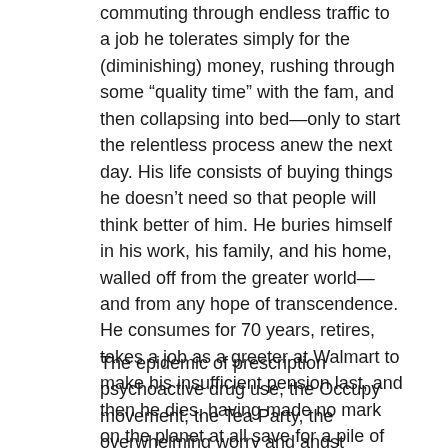commuting through endless traffic to a job he tolerates simply for the (diminishing) money, rushing through some “quality time” with the fam, and then collapsing into bed—only to start the relentless process anew the next day. His life consists of buying things he doesn’t need so that people will think better of him. He buries himself in his work, his family, and his home, walled off from the greater world—and from any hope of transcendence. He consumes for 70 years, retires, takes a job as a greeter at Walmart to make his insufficient pension last, and then he dies, having made no mark on the planet at all save for a pile of garbage.
The epidemic of prescription psychoactive drug use, the Occupy movement, the Tea Party, the overwhelming worry and angst